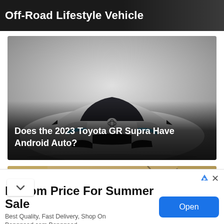Off-Road Lifestyle Vehicle
[Figure (photo): Front view of a white 2023 Toyota GR Supra sports car on a grey studio background, with blue LED headlights visible. Text overlay reads 'Does the 2023 Toyota GR Supra Have Android Auto?']
Does the 2023 Toyota GR Supra Have Android Auto?
[Figure (photo): Partial view of a stone building exterior with bare tree branches against an overcast sky.]
Bottom Price For Summer Sale
Best Quality, Fast Delivery, Shop On Banggood.com Banggood